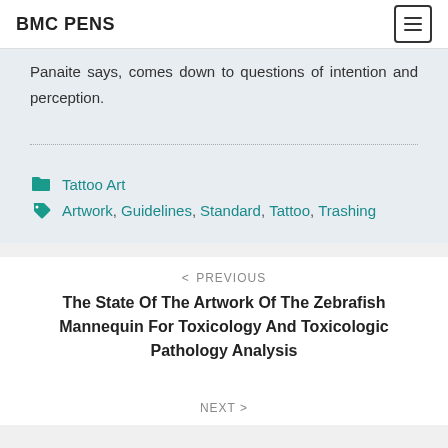BMC PENS
Panaite says, comes down to questions of intention and perception.
Tattoo Art
Artwork, Guidelines, Standard, Tattoo, Trashing
< PREVIOUS
The State Of The Artwork Of The Zebrafish Mannequin For Toxicology And Toxicologic Pathology Analysis
NEXT >